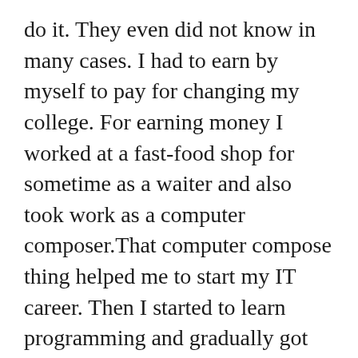do it. They even did not know in many cases. I had to earn by myself to pay for changing my college. For earning money I worked at a fast-food shop for sometime as a waiter and also took work as a computer composer.That computer compose thing helped me to start my IT career. Then I started to learn programming and gradually got engrossed in the field. That was my starting in IT and then gradually I educated myself on various other areas.
[su_divider top="no" text=" " divider_color="#c7c6">